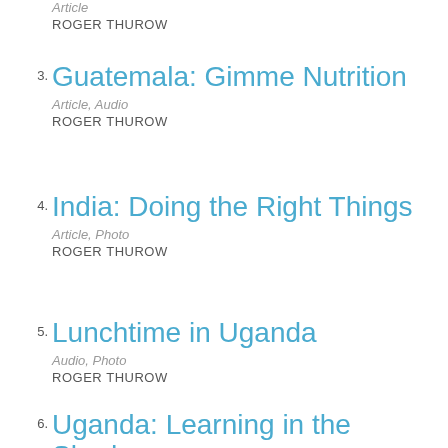Article
ROGER THUROW
3. Guatemala: Gimme Nutrition
Article, Audio
ROGER THUROW
4. India: Doing the Right Things
Article, Photo
ROGER THUROW
5. Lunchtime in Uganda
Audio, Photo
ROGER THUROW
6. Uganda: Learning in the Shade